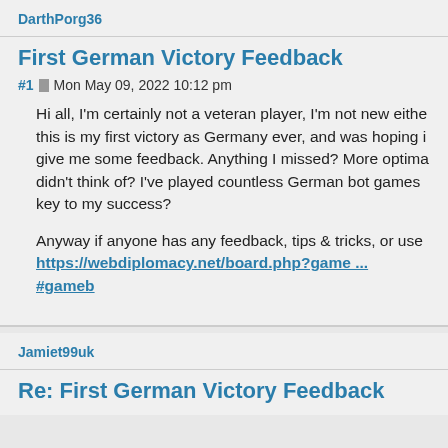DarthPorg36
First German Victory Feedback
#1  Mon May 09, 2022 10:12 pm
Hi all, I'm certainly not a veteran player, I'm not new either. this is my first victory as Germany ever, and was hoping i give me some feedback. Anything I missed? More optima didn't think of? I've played countless German bot games key to my success?
Anyway if anyone has any feedback, tips & tricks, or use https://webdiplomacy.net/board.php?game ... #gameb
Jamiet99uk
Re: First German Victory Feedback